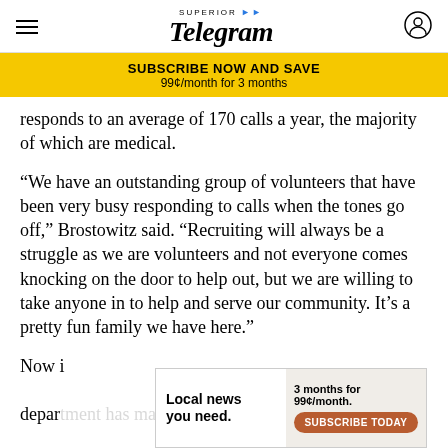Superior Telegram
[Figure (infographic): Subscribe Now and Save banner: 99¢/month for 3 months]
responds to an average of 170 calls a year, the majority of which are medical.
“We have an outstanding group of volunteers that have been very busy responding to calls when the tones go off,” Brostowitz said. “Recruiting will always be a struggle as we are volunteers and not everyone comes knocking on the door to help out, but we are willing to take anyone in to help and serve our community. It’s a pretty fun family we have here.”
Now i... department has many long-time members with a
[Figure (infographic): Local news advertisement: 3 months for 99¢/month. Subscribe Today button.]